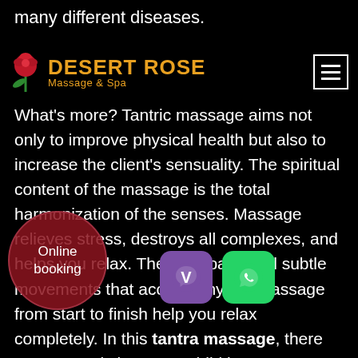many different diseases.
DESERT ROSE Massage & Spa
What's more? Tantric massage aims not only to improve physical health but also to increase the client's sensuality. The spiritual content of the massage is the total harmonization of the senses. Massage relieves stress, destroys all complexes, and helps you relax. The slow pace and subtle movements that accompany the massage from start to finish help you relax completely. In this tantra massage, there are no restrictions or prohibitions!
[Figure (logo): Desert Rose Massage & Spa logo with rose graphic and orange text]
[Figure (infographic): Online booking circular button (dark red), Viber icon (purple), WhatsApp icon (green)]